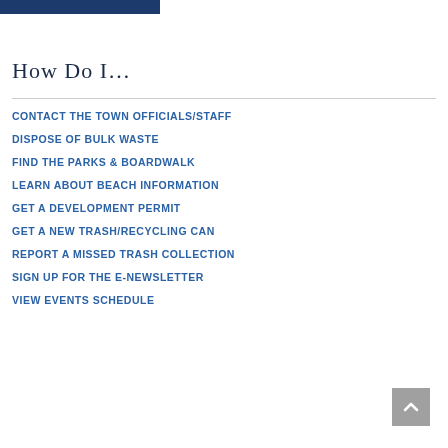How Do I…
CONTACT THE TOWN OFFICIALS/STAFF
DISPOSE OF BULK WASTE
FIND THE PARKS & BOARDWALK
LEARN ABOUT BEACH INFORMATION
GET A DEVELOPMENT PERMIT
GET A NEW TRASH/RECYCLING CAN
REPORT A MISSED TRASH COLLECTION
SIGN UP FOR THE E-NEWSLETTER
VIEW EVENTS SCHEDULE